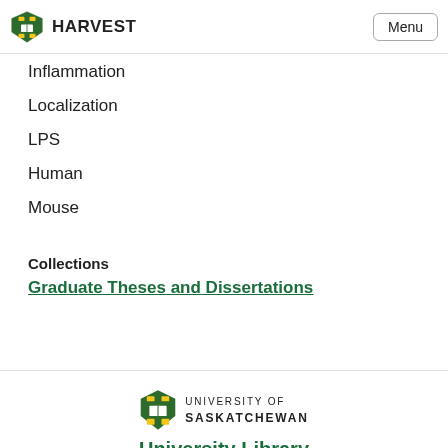HARVEST
Inflammation
Localization
LPS
Human
Mouse
Collections
Graduate Theses and Dissertations
[Figure (logo): University of Saskatchewan crest logo with open book and wheat sheaves, green and gold colors]
University Library